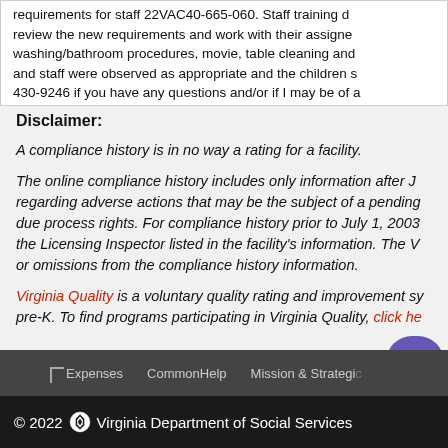requirements for staff 22VAC40-665-060. Staff training d... review the new requirements and work with their assigne... washing/bathroom procedures, movie, table cleaning and... and staff were observed as appropriate and the children s... 430-9246 if you have any questions and/or if I may be of a...
Disclaimer:
A compliance history is in no way a rating for a facility.
The online compliance history includes only information after J... regarding adverse actions that may be the subject of a pending... due process rights. For compliance history prior to July 1, 2003... the Licensing Inspector listed in the facility's information. The V... or omissions from the compliance history information.
Virginia Quality is a voluntary quality rating and improvement sy... pre-K. To find programs participating in Virginia Quality, click he...
Expenses   CommonHelp   Mission & Strategic...
© 2022 Virginia Department of Social Services